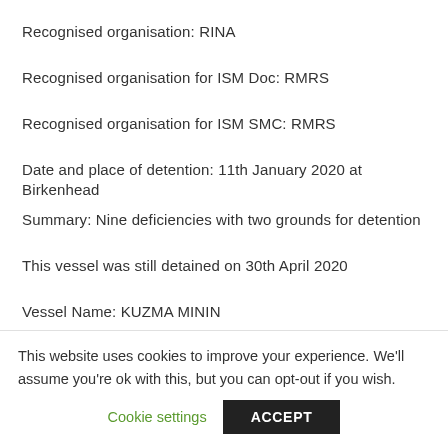Recognised organisation: RINA
Recognised organisation for ISM Doc: RMRS
Recognised organisation for ISM SMC: RMRS
Date and place of detention: 11th January 2020 at Birkenhead
Summary: Nine deficiencies with two grounds for detention
This vessel was still detained on 30th April 2020
Vessel Name: KUZMA MININ
GT: 16257
This website uses cookies to improve your experience. We'll assume you're ok with this, but you can opt-out if you wish.
Cookie settings
ACCEPT